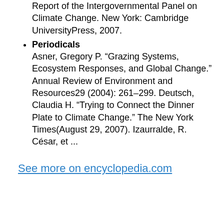Report of the Intergovernmental Panel on Climate Change. New York: Cambridge UniversityPress, 2007.
Periodicals
Asner, Gregory P. “Grazing Systems, Ecosystem Responses, and Global Change.” Annual Review of Environment and Resources29 (2004): 261–299. Deutsch, Claudia H. “Trying to Connect the Dinner Plate to Climate Change.” The New York Times(August 29, 2007). Izaurralde, R. César, et ...
See more on encyclopedia.com